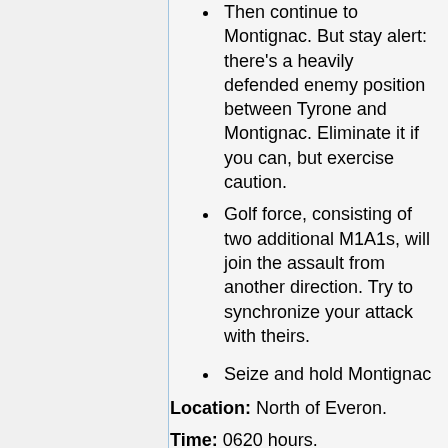Then continue to Montignac. But stay alert: there's a heavily defended enemy position between Tyrone and Montignac. Eliminate it if you can, but exercise caution.
Golf force, consisting of two additional M1A1s, will join the assault from another direction. Try to synchronize your attack with theirs.
Seize and hold Montignac
Location: North of Everon.
Time: 0620 hours.
You are now in charge of a platoon of tanks. Use the action menu to go to the next waypoint. On the way to Tyrone some Ural's and a BMP willl cross your path. Then in Tyrone itself there is another BMP and some infantry with AT